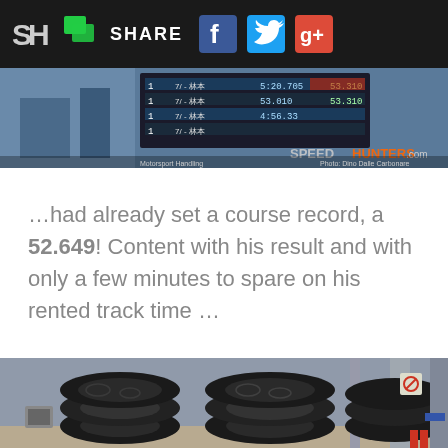SH SHARE [social icons: Facebook, Twitter, Google+]
[Figure (screenshot): Speedhunters.com race timing board screenshot showing lap times including 5:20.705, 53.010, 53.310, 4:56.33 and other values]
…had already set a course record, a 52.649! Content with his result and with only a few minutes to spare on his rented track time …
[Figure (photo): Stacks of performance tires (racing tyres) arranged in groups against a pit lane wall at a racing circuit, with structural columns and signs visible in background]